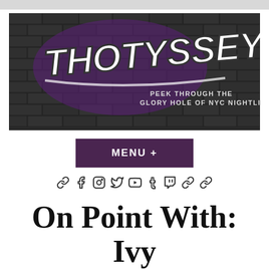[Figure (logo): Thotyssey! banner logo on a dark brick wall background with graffiti-style lettering in white and purple. Tagline reads: PEEK THROUGH THE GLORY HOLE OF NYC NIGHTLIFE]
MENU +
[Figure (infographic): Row of social media icons: link, Facebook, Instagram, Twitter, YouTube, Tumblr, Twitch, link, link]
On Point With: Ivy Stalls